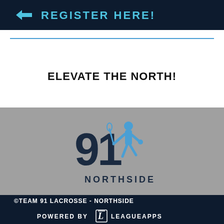[Figure (screenshot): Dark navy blue banner with arrow icon and bold cyan text 'REGISTER HERE!']
ELEVATE THE NORTH!
[Figure (logo): Team 91 Northside lacrosse logo on gray background — stylized '91' in dark navy with a blue lacrosse player silhouette and 'NORTHSIDE' text below]
©TEAM 91 LACROSSE - NORTHSIDE
[Figure (logo): Powered by LeagueApps logo — white text with stylized 'L' icon on dark navy background]